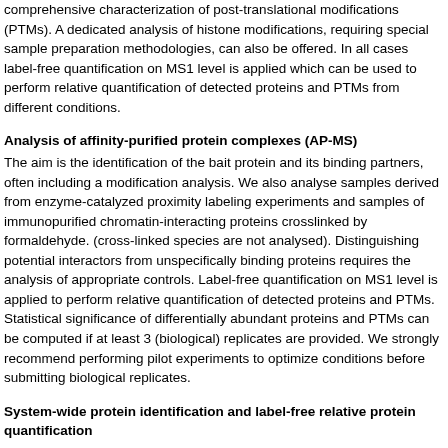comprehensive characterization of post-translational modifications (PTMs). A dedicated analysis of histone modifications, requiring special sample preparation methodologies, can also be offered. In all cases label-free quantification on MS1 level is applied which can be used to perform relative quantification of detected proteins and PTMs from different conditions.
Analysis of affinity-purified protein complexes (AP-MS)
The aim is the identification of the bait protein and its binding partners, often including a modification analysis. We also analyse samples derived from enzyme-catalyzed proximity labeling experiments and samples of immunopurified chromatin-interacting proteins crosslinked by formaldehyde. (cross-linked species are not analysed). Distinguishing potential interactors from unspecifically binding proteins requires the analysis of appropriate controls. Label-free quantification on MS1 level is applied to perform relative quantification of detected proteins and PTMs. Statistical significance of differentially abundant proteins and PTMs can be computed if at least 3 (biological) replicates are provided. We strongly recommend performing pilot experiments to optimize conditions before submitting biological replicates.
System-wide protein identification and label-free relative protein quantification